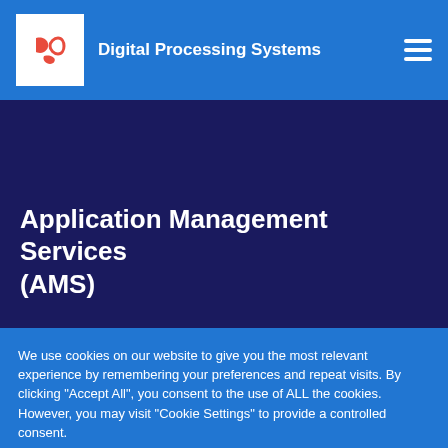Digital Processing Systems
Application Management Services (AMS)
We use cookies on our website to give you the most relevant experience by remembering your preferences and repeat visits. By clicking "Accept All", you consent to the use of ALL the cookies. However, you may visit "Cookie Settings" to provide a controlled consent.
Cookie Settings   Accept All